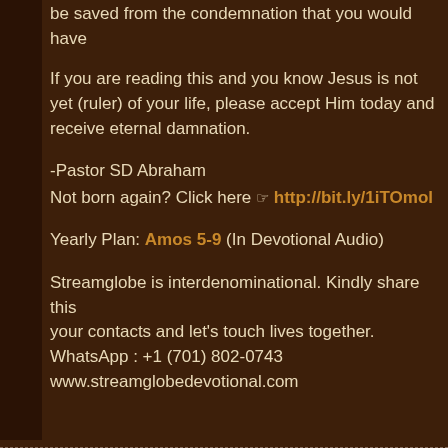be saved from the condemnation that you would have
If you are reading this and you know Jesus is not yet (ruler) of your life, please accept Him today and receive eternal damnation.
-Pastor SD Abraham
Not born again? Click here ☞ http://bit.ly/1iTOmol
Yearly Plan: Amos 5-9 (In Devotional Audio)
Streamglobe is interdenominational. Kindly share this your contacts and let's touch lives together.
WhatsApp : +1 (701) 802-0743
www.streamglobedevotional.com